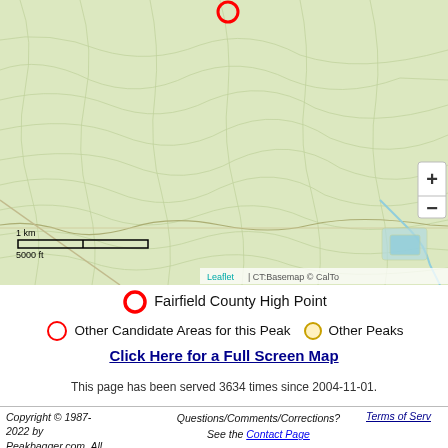[Figure (map): Topographic map showing Fairfield County Connecticut area with contour lines, roads, and water features. A red circle marker is visible near the top center indicating a peak location. Map includes zoom controls (+/-) and a scale bar showing 1 km / 5000 ft. Attribution reads Leaflet | CT:Basemap © CalTo]
Fairfield County High Point
Other Candidate Areas for this Peak   Other Peaks
Click Here for a Full Screen Map
This page has been served 3634 times since 2004-11-01.
Copyright © 1987-2022 by Peakbagger.com. All Rights Reserved.   Questions/Comments/Corrections? See the Contact Page   Terms of Serv